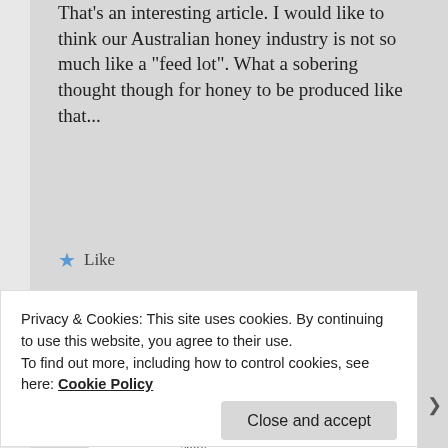That's an interesting article. I would like to think our Australian honey industry is not so much like a "feed lot". What a sobering thought though for honey to be produced like that...
★ Like
Reply ↓
Celia @ Fig Jam and Lime Cordial on December 2, 2010 at 7:31 pm said:
Privacy & Cookies: This site uses cookies. By continuing to use this website, you agree to their use.
To find out more, including how to control cookies, see here: Cookie Policy